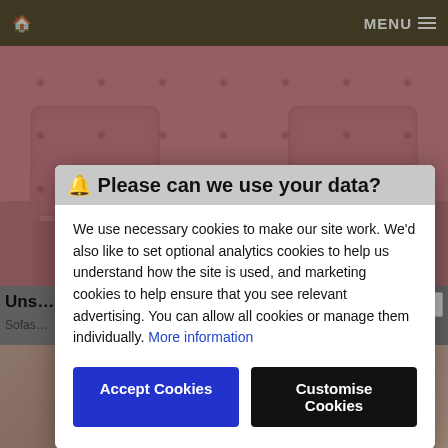🏠  MENU ≡
[Figure (photo): Pink tufted sofa with button details and cushions, photographed from the front against a light background.]
Uns...es
Sofas... w
[Figure (photo): Bottom strip showing a food or decorative item image.]
🔔 Please can we use your data?
We use necessary cookies to make our site work. We'd also like to set optional analytics cookies to help us understand how the site is used, and marketing cookies to help ensure that you see relevant advertising. You can allow all cookies or manage them individually. More information
Accept Cookies   Customise Cookies